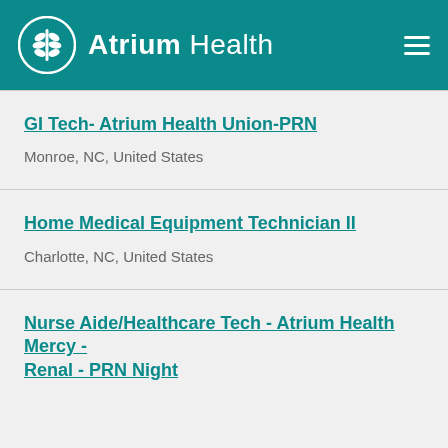Atrium Health
GI Tech- Atrium Health Union-PRN
Monroe, NC, United States
Home Medical Equipment Technician II
Charlotte, NC, United States
Nurse Aide/Healthcare Tech - Atrium Health Mercy - Renal - PRN Night